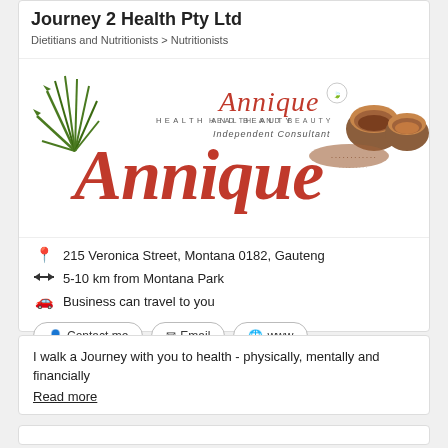Journey 2 Health Pty Ltd
Dietitians and Nutritionists > Nutritionists
[Figure (logo): Annique Health and Beauty Independent Consultant logo with rooibos imagery]
215 Veronica Street, Montana 0182, Gauteng
5-10 km from Montana Park
Business can travel to you
Contact me   Email   www
I walk a Journey with you to health - physically, mentally and financially
Read more